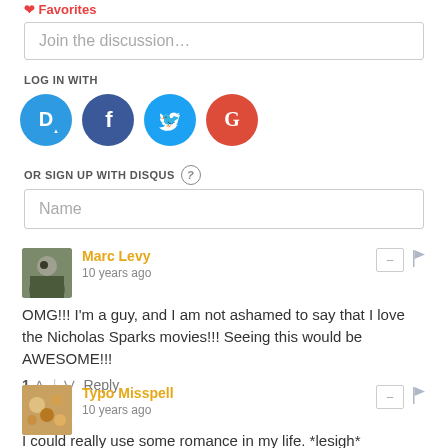Favorites
Join the discussion…
LOG IN WITH
[Figure (illustration): Social login icons: Disqus (blue circle with D), Facebook (dark blue circle with f), Twitter (light blue circle with bird), Google (red circle with G)]
OR SIGN UP WITH DISQUS ?
Name
Marc Levy
10 years ago
OMG!!! I'm a guy, and I am not ashamed to say that I love the Nicholas Sparks movies!!! Seeing this would be AWESOME!!!
1 ↑ | ↓ Reply
Typo Misspell
10 years ago
I could really use some romance in my life. *lesigh*